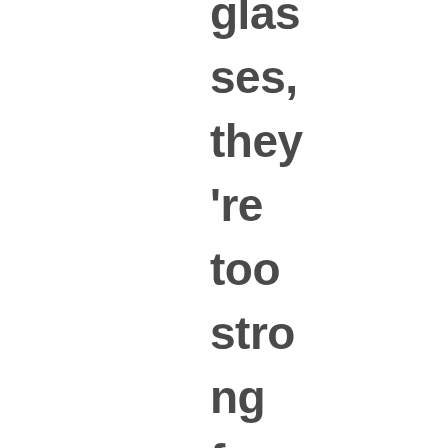glas ses, they 're too stro ng for reh ab pur pos